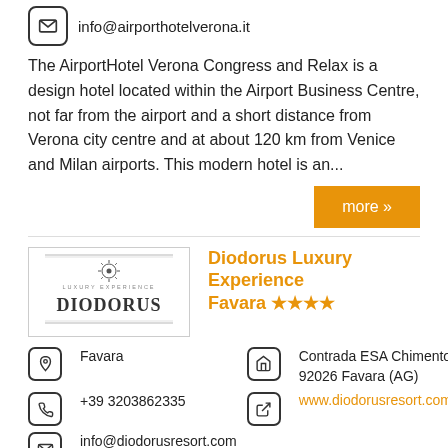info@airporthotelverona.it
The AirportHotel Verona Congress and Relax is a design hotel located within the Airport Business Centre, not far from the airport and a short distance from Verona city centre and at about 120 km from Venice and Milan airports. This modern hotel is an...
more »
Diodorus Luxury Experience Favara ★★★★
[Figure (logo): Diodorus Luxury Experience logo with decorative emblem and text 'DIODORUS' in serif font]
Favara
Contrada ESA Chimento
92026 Favara (AG)
+39 3203862335
www.diodorusresort.com
info@diodorusresort.com